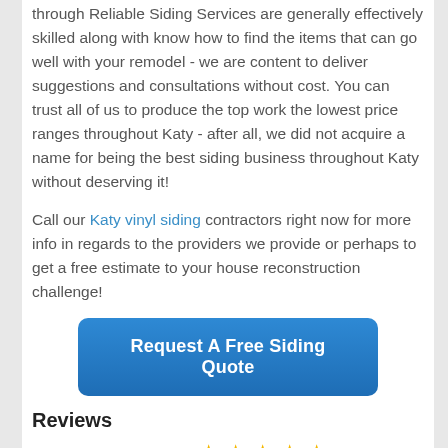through Reliable Siding Services are generally effectively skilled along with know how to find the items that can go well with your remodel - we are content to deliver suggestions and consultations without cost. You can trust all of us to produce the top work the lowest price ranges throughout Katy - after all, we did not acquire a name for being the best siding business throughout Katy without deserving it!
Call our Katy vinyl siding contractors right now for more info in regards to the providers we provide or perhaps to get a free estimate to your house reconstruction challenge!
[Figure (other): Blue button labeled 'Request A Free Siding Quote']
Reviews
[Figure (other): Five yellow star rating icons with label 'Reviews:']
4.65/5 (93%) 55 votes